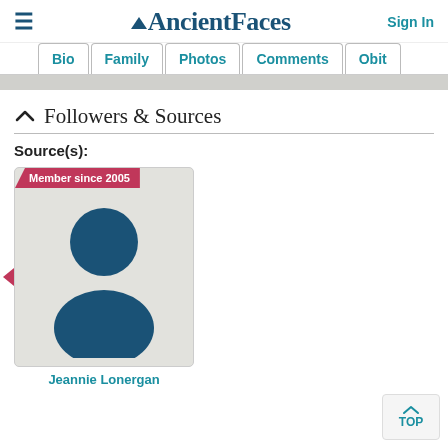AncientFaces  Sign In
Bio  Family  Photos  Comments  Obit
Followers & Sources
Source(s):
[Figure (illustration): Default user avatar silhouette (head and shoulders) in dark teal on light gray background, with 'Member since 2005' pink tag. Below: 'Jeannie Lonergan']
Jeannie Lonergan